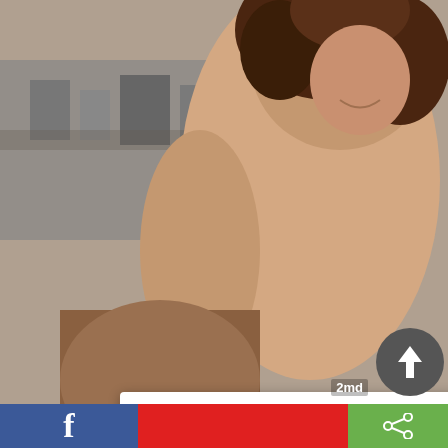[Figure (photo): Background photo of a woman with dark curly hair smiling, showing bare back, with a city aerial view background]
Ads By ClickAdilla
Anna, 26 (1.2 miles) sex need
Sent you a video (00:55) ▶
[Figure (photo): Small thumbnail of a woman in red bikini top]
[Figure (photo): Video thumbnail showing a woman in red bikini posing on floor]
2md
[Figure (other): Upload arrow icon button (dark circle with white up arrow)]
f  [Facebook share bar]  2md  [share icon]